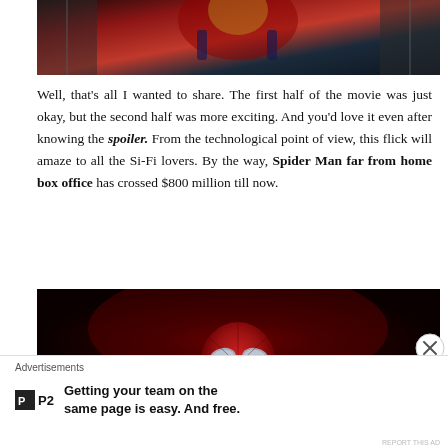[Figure (photo): Spider-Man in Iron Spider suit with arms raised, viewed from below, partially cropped at top]
Well, that's all I wanted to share. The first half of the movie was just okay, but the second half was more exciting. And you'd love it even after knowing the spoiler. From the technological point of view, this flick will amaze to all the Si-Fi lovers. By the way, Spider Man far from home box office has crossed $800 million till now.
[Figure (photo): Spider-Man in red suit with red background, partially cropped]
Advertisements
Getting your team on the same page is easy. And free.